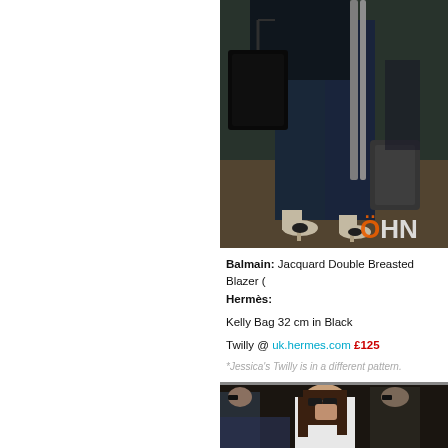[Figure (photo): Close-up photo of a person's lower body/legs in dark jeans and heels, holding a black Hermès Kelly bag, at what appears to be an airport. OHN watermark visible in bottom right corner.]
Balmain: Jacquard Double Breasted Blazer (
Hermès:

Kelly Bag 32 cm in Black

Twilly @ uk.hermes.com £125

*Jessica's Twilly is in a different pattern.
[Figure (photo): Photo of a woman with long brown hair wearing sunglasses and a white top, with other people visible around her, appears to be at a public event or airport.]